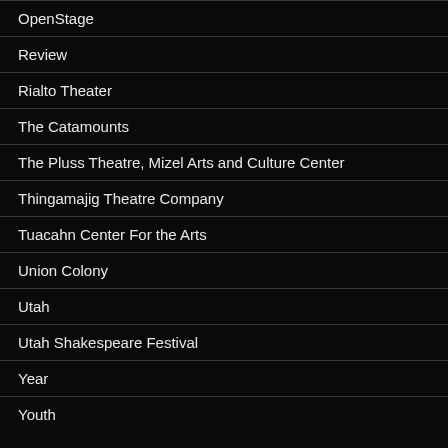OpenStage
Review
Rialto Theater
The Catamounts
The Pluss Theatre, Mizel Arts and Culture Center
Thingamajig Theatre Company
Tuacahn Center For the Arts
Union Colony
Utah
Utah Shakespeare Festival
Year
Youth